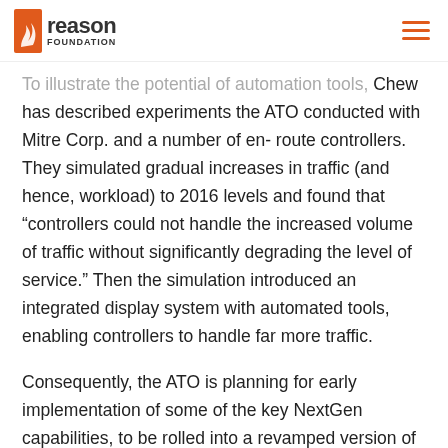Reason Foundation
To illustrate the potential of automation tools, Chew has described experiments the ATO conducted with Mitre Corp. and a number of en-route controllers. They simulated gradual increases in traffic (and hence, workload) to 2016 levels and found that “controllers could not handle the increased volume of traffic without significantly degrading the level of service.” Then the simulation introduced an integrated display system with automated tools, enabling controllers to handle far more traffic.
Consequently, the ATO is planning for early implementation of some of the key NextGen capabilities, to be rolled into a revamped version of